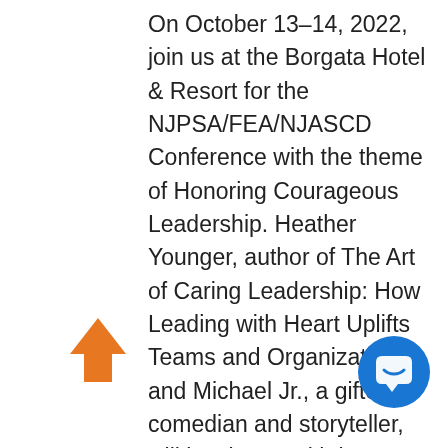On October 13–14, 2022, join us at the Borgata Hotel & Resort for the NJPSA/FEA/NJASCD Conference with the theme of Honoring Courageous Leadership. Heather Younger, author of The Art of Caring Leadership: How Leading with Heart Uplifts Teams and Organizations, and Michael Jr., a gifted comedian and storyteller, will inspire us with keynote addresses. Dozens of engaging workshops led by NJPSA members and other educational leaders from across the state will be held. Additional details on the schedule and conference sessions will follow. NJPSA members who register for both days of
[Figure (illustration): Orange upward arrow icon in the lower left area of the page]
[Figure (illustration): Blue circular chat/support button icon in the lower right area of the page]